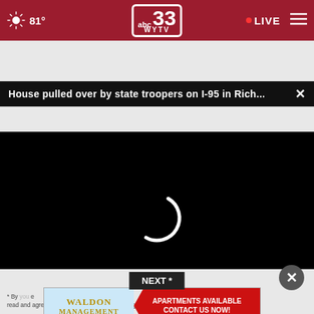[Figure (screenshot): ABC 33 WYTV news website header with dark red background showing weather (sun icon, 81°), ABC 33 WYTV logo in center, LIVE indicator and hamburger menu on right]
House pulled over by state troopers on I-95 in Rich...
[Figure (screenshot): Black video player area showing loading spinner (white arc) in center, with progress bar at bottom (white dot at left), and controls bar: play button, mute button, time 00:00, captions button, fullscreen button]
NEXT *
[Figure (advertisement): Waldon Management advertisement banner with light blue left side showing gold text WALDON MANAGEMENT and red right side with white text APARTMENTS AVAILABLE CONTACT US NOW!]
* By  [text cut by ad] you [text cut by ad] e read and agree to the CivicScience Privacy Policy and Terms of Service